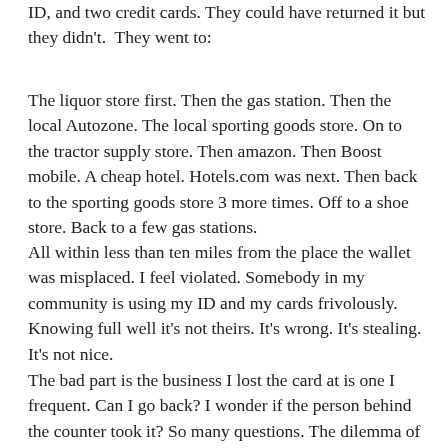ID, and two credit cards. They could have returned it but they didn't.  They went to:
The liquor store first. Then the gas station. Then the local Autozone. The local sporting goods store. On to the tractor supply store. Then amazon. Then Boost mobile. A cheap hotel. Hotels.com was next. Then back to the sporting goods store 3 more times. Off to a shoe store. Back to a few gas stations.
All within less than ten miles from the place the wallet was misplaced. I feel violated. Somebody in my community is using my ID and my cards frivolously. Knowing full well it's not theirs. It's wrong. It's stealing. It's not nice.
The bad part is the business I lost the card at is one I frequent. Can I go back? I wonder if the person behind the counter took it? So many questions. The dilemma of filing a